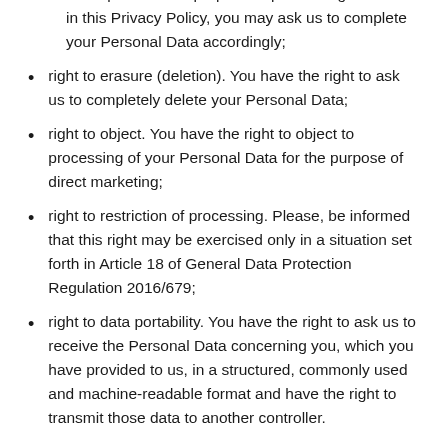incomplete for the purpose of processing as stated in this Privacy Policy, you may ask us to complete your Personal Data accordingly;
right to erasure (deletion). You have the right to ask us to completely delete your Personal Data;
right to object. You have the right to object to processing of your Personal Data for the purpose of direct marketing;
right to restriction of processing. Please, be informed that this right may be exercised only in a situation set forth in Article 18 of General Data Protection Regulation 2016/679;
right to data portability. You have the right to ask us to receive the Personal Data concerning you, which you have provided to us, in a structured, commonly used and machine-readable format and have the right to transmit those data to another controller.